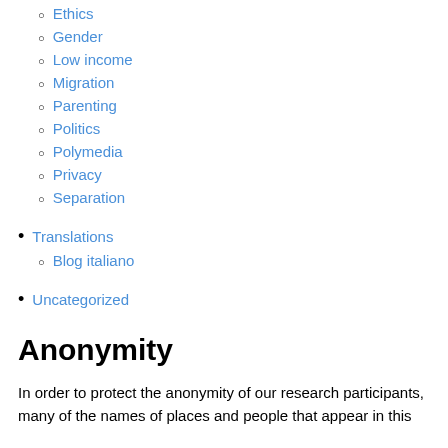Ethics
Gender
Low income
Migration
Parenting
Politics
Polymedia
Privacy
Separation
Translations
Blog italiano
Uncategorized
Anonymity
In order to protect the anonymity of our research participants, many of the names of places and people that appear in this